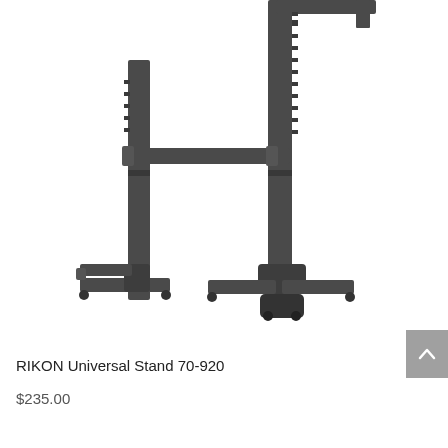[Figure (photo): Photo of a RIKON Universal Stand 70-920, a dark gray/black heavy-duty adjustable metal stand with two vertical uprights connected by a horizontal crossbar, T-shaped bases with rubber feet, and a small shelf bracket visible at the top right. The stand is photographed against a white background.]
RIKON Universal Stand 70-920
$235.00